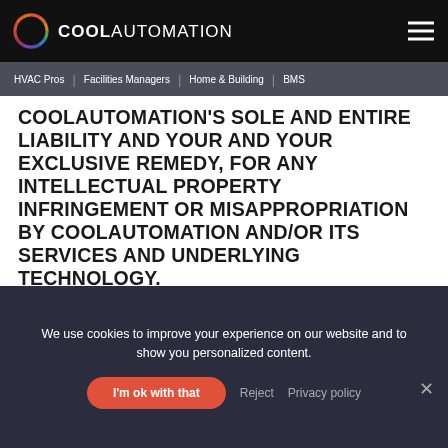COOL AUTOMATION
HVAC Pros | Facilities Managers | Home & Building | BMS
COOLAUTOMATION'S SOLE AND ENTIRE LIABILITY AND YOUR AND YOUR EXCLUSIVE REMEDY, FOR ANY INTELLECTUAL PROPERTY INFRINGEMENT OR MISAPPROPRIATION BY COOLAUTOMATION AND/OR ITS SERVICES AND UNDERLYING TECHNOLOGY.
THIRD PARTY MATERIALS
The Services may contain software or other materials
We use cookies to improve your experience on our website and to show you personalized content.